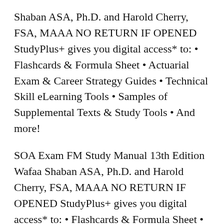Shaban ASA, Ph.D. and Harold Cherry, FSA, MAAA NO RETURN IF OPENED StudyPlus+ gives you digital access* to: • Flashcards & Formula Sheet • Actuarial Exam & Career Strategy Guides • Technical Skill eLearning Tools • Samples of Supplemental Texts & Study Tools • And more!
SOA Exam FM Study Manual 13th Edition Wafaa Shaban ASA, Ph.D. and Harold Cherry, FSA, MAAA NO RETURN IF OPENED StudyPlus+ gives you digital access* to: • Flashcards & Formula Sheet • Actuarial Exam & Career Strategy Guides • Technical Skill eLearning Tools • Samples of Supplemental Texts & Study Tools • And more! ASM Study Manual for SOA Exam FM 12th Edition preview 1-50.pdf■■■■■■ASM Stud...